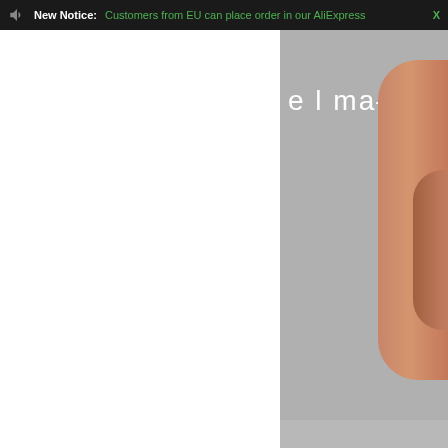New Notice: Customers from EU can place order in our AliExpress  X
[Figure (photo): Product image showing a close-up of a hearing aid or earpiece device placed on a human ear, shown against a gray background. The right side shows the ear and device in skin/brown tones. Partial product name text 'elma-[number]' appears in white letters on the gray background.]